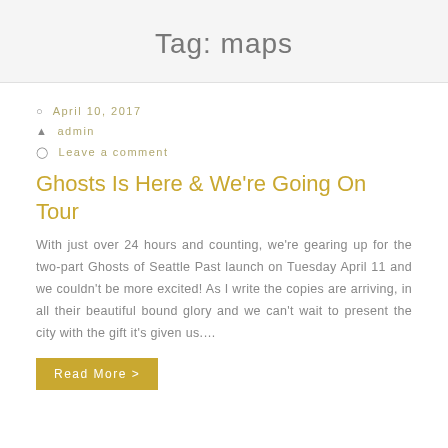Tag: maps
April 10, 2017
admin
Leave a comment
Ghosts Is Here & We're Going On Tour
With just over 24 hours and counting, we're gearing up for the two-part Ghosts of Seattle Past launch on Tuesday April 11 and we couldn't be more excited! As I write the copies are arriving, in all their beautiful bound glory and we can't wait to present the city with the gift it's given us….
Read More >